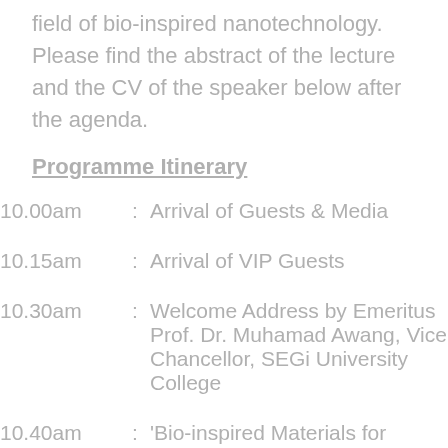field of bio-inspired nanotechnology. Please find the abstract of the lecture and the CV of the speaker below after the agenda.
Programme Itinerary
10.00am : Arrival of Guests & Media
10.15am : Arrival of VIP Guests
10.30am : Welcome Address by Emeritus Prof. Dr. Muhamad Awang, Vice Chancellor, SEGi University College
10.40am : 'Bio-inspired Materials for